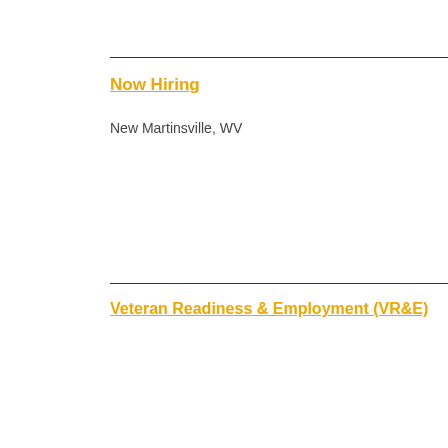Now Hiring
New Martinsville, WV
Veteran Readiness & Employment (VR&E)